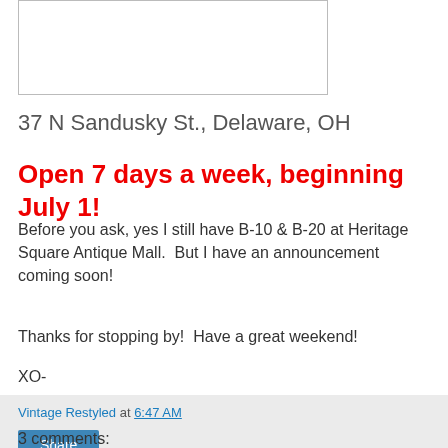[Figure (other): Blank white image placeholder with border]
37 N Sandusky St., Delaware, OH
Open 7 days a week, beginning July 1!
Before you ask, yes I still have B-10 & B-20 at Heritage Square Antique Mall.  But I have an announcement coming soon!
Thanks for stopping by!  Have a great weekend!
XO-
Vintage Restyled at 6:47 AM  Share
3 comments: